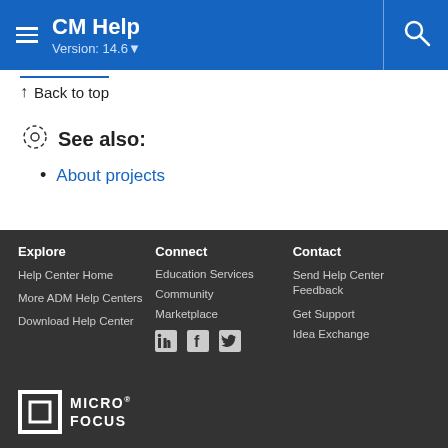CM Help Version: 14.6
↑ Back to top
See also:
About projects
Explore
Help Center Home
More ADM Help Centers
Download Help Center
Connect
Education Services
Community
Marketplace
Contact
Send Help Center Feedback
Get Support
Idea Exchange
[Figure (logo): Micro Focus logo — white square outline with inner square, text MICRO FOCUS]